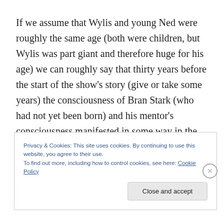If we assume that Wylis and young Ned were roughly the same age (both were children, but Wylis was part giant and therefore huge for his age) we can roughly say that thirty years before the start of the show's story (give or take some years) the consciousness of Bran Stark (who had not yet been born) and his mentor's consciousness manifested in some way in the Winterfell courtyard. More than just seeing images of the past, Bran's consciousness
Privacy & Cookies: This site uses cookies. By continuing to use this website, you agree to their use.
To find out more, including how to control cookies, see here: Cookie Policy
Close and accept